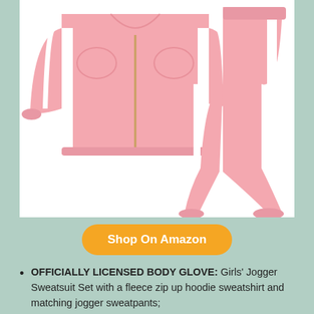[Figure (photo): Pink girls' tracksuit set consisting of a zip-up hoodie sweatshirt jacket with white side stripes and matching pink jogger sweatpants with white side stripes, displayed flat on a white background.]
Shop On Amazon
OFFICIALLY LICENSED BODY GLOVE: Girls' Jogger Sweatsuit Set with a fleece zip up hoodie sweatshirt and matching jogger sweatpants;